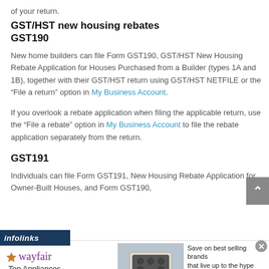of your return.
GST/HST new housing rebates
GST190
New home builders can file Form GST190, GST/HST New Housing Rebate Application for Houses Purchased from a Builder (types 1A and 1B), together with their GST/HST return using GST/HST NETFILE or the “File a return” option in My Business Account.
If you overlook a rebate application when filing the applicable return, use the “File a rebate” option in My Business Account to file the rebate application separately from the return.
GST191
Individuals can file Form GST191, New Housing Rebate Application for Owner-Built Houses, and Form GST190,